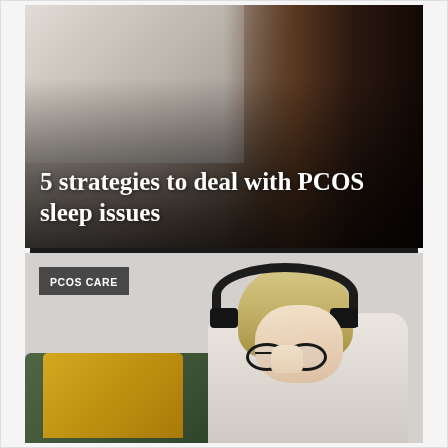[Figure (photo): Dark moody photo showing a person in a dark setting, possibly a bedroom or workspace, with shadowy lighting. Light-toned elements on the left half background.]
5 strategies to deal with PCOS sleep issues
PCOS CARE
[Figure (photo): A blonde woman wearing black over-ear headphones and round black glasses, dressed in a cream/beige knitted cardigan, sitting on a green sofa with a yellow cushion. She has her hand to her chin in a thoughtful pose, looking downward. The background is light gray.]